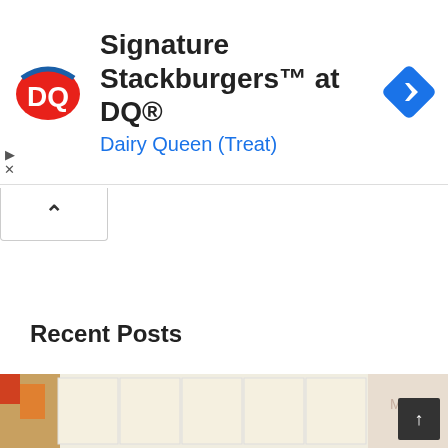[Figure (screenshot): Dairy Queen ad banner with DQ logo, text 'Signature Stackburgers™ at DQ®' and 'Dairy Queen (Treat)' in blue, and a blue navigation diamond icon on the right]
Recent Posts
[Figure (photo): Partially visible photo of what appears to be papers or documents spread out, visible at bottom of page]